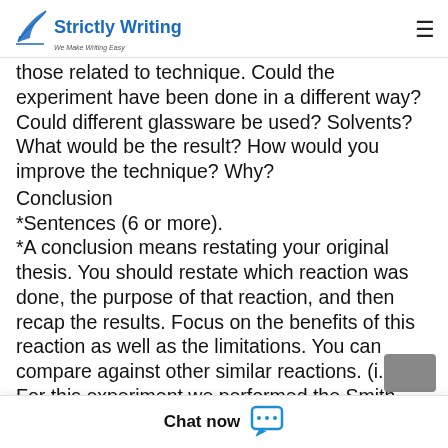Strictly Writing — We Make Writing Easy
those related to technique. Could the experiment have been done in a different way? Could different glassware be used? Solvents? What would be the result? How would you improve the technique? Why?
Conclusion
*Sentences (6 or more).
*A conclusion means restating your original thesis. You should restate which reaction was done, the purpose of that reaction, and then recap the results. Focus on the benefits of this reaction as well as the limitations. You can compare against other similar reactions. (i.e. For this experiment we performed the Smith Reduction.
experiment was t